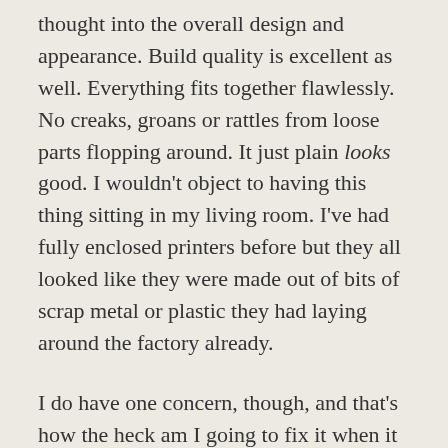thought into the overall design and appearance. Build quality is excellent as well. Everything fits together flawlessly. No creaks, groans or rattles from loose parts flopping around. It just plain looks good. I wouldn't object to having this thing sitting in my living room. I've had fully enclosed printers before but they all looked like they were made out of bits of scrap metal or plastic they had laying around the factory already.
I do have one concern, though, and that's how the heck am I going to fix it when it breaks? (Yes, it will eventually break.) How am I going to get at the filament feed motor? Or the motors that drive the screws that control vertical